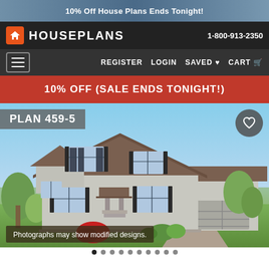[Figure (screenshot): Top banner advertisement for house plans with '10% Off House Plans Ends Tonight!' text]
HOUSEPLANS | 1-800-913-2350
REGISTER  LOGIN  SAVED ♥  CART 🛒
10% OFF (SALE ENDS TONIGHT!)
[Figure (photo): Rendering of a two-story house, Plan 459-5, with gray siding, dark shutters, covered front entry, attached two-car garage, and landscaping]
Photographs may show modified designs.